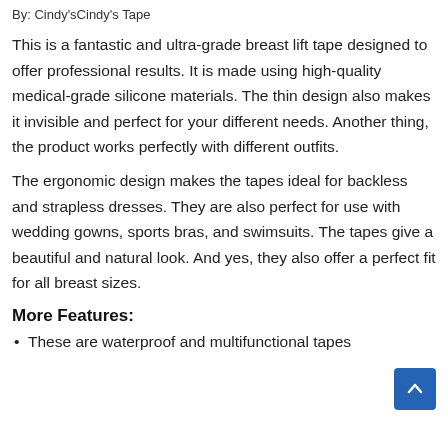By: Cindy'sCindy's Tape
This is a fantastic and ultra-grade breast lift tape designed to offer professional results. It is made using high-quality medical-grade silicone materials. The thin design also makes it invisible and perfect for your different needs. Another thing, the product works perfectly with different outfits.
The ergonomic design makes the tapes ideal for backless and strapless dresses. They are also perfect for use with wedding gowns, sports bras, and swimsuits. The tapes give a beautiful and natural look. And yes, they also offer a perfect fit for all breast sizes.
More Features:
These are waterproof and multifunctional tapes